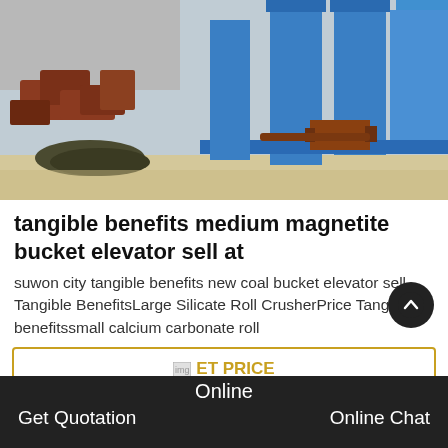[Figure (photo): Industrial blue bucket elevator and conveyor equipment in a factory yard, with red/brown metal parts and machinery components on the ground.]
tangible benefits medium magnetite bucket elevator sell at
suwon city tangible benefits new coal bucket elevator sell. Tangible BenefitsLarge Silicate Roll CrusherPrice Tangible benefitssmall calcium carbonate roll
[Figure (other): GET PRICE button with small broken image icon]
Online
Get Quotation    Online Chat